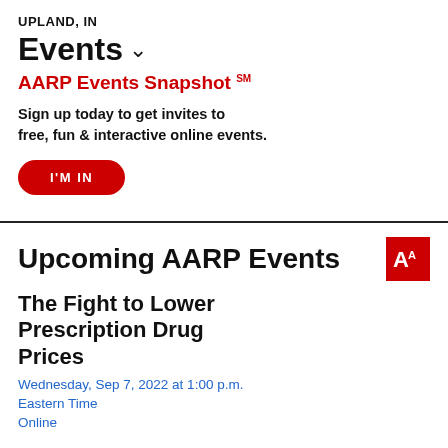UPLAND, IN
Events
AARP Events Snapshot SM
Sign up today to get invites to free, fun & interactive online events.
I'M IN
Upcoming AARP Events
The Fight to Lower Prescription Drug Prices
Wednesday, Sep 7, 2022 at 1:00 p.m. Eastern Time
Online